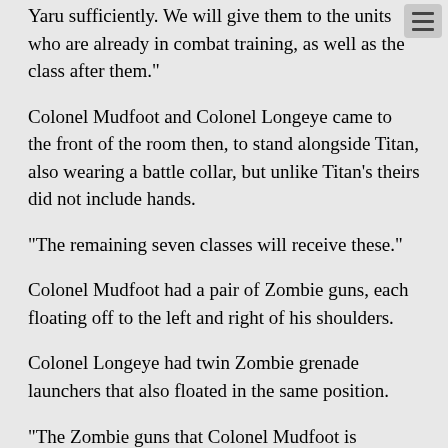Yaru sufficiently. We will give them to the units who are already in combat training, as well as the class after them."
Colonel Mudfoot and Colonel Longeye came to the front of the room then, to stand alongside Titan, also wearing a battle collar, but unlike Titan's theirs did not include hands.
"The remaining seven classes will receive these."
Colonel Mudfoot had a pair of Zombie guns, each floating off to the left and right of his shoulders.
Colonel Longeye had twin Zombie grenade launchers that also floated in the same position.
"The Zombie guns that Colonel Mudfoot is equipped with are identical to those carried by our human Warriors. The trigger and grip module have been replaced by a remote manipulator interface. Any standard Zombie gun can be field stripped and adapted to use this interface. The Zombie grenade launcher unit that Colonel Longeye is wielding are also the same as those carried by our human Warriors. The rear grip and trigger unit for the launcher has been field